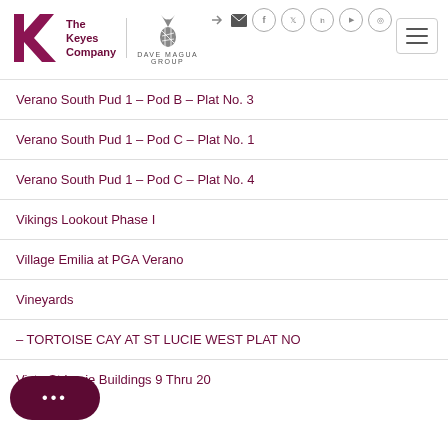The Keyes Company — Dave Magua Group
Verano South Pud 1 – Pod B – Plat No. 3
Verano South Pud 1 – Pod C – Plat No. 1
Verano South Pud 1 – Pod C – Plat No. 4
Vikings Lookout Phase I
Village Emilia at PGA Verano
Vineyards
– TORTOISE CAY AT ST LUCIE WEST PLAT NO
Vista St Lucie Buildings 9 Thru 20